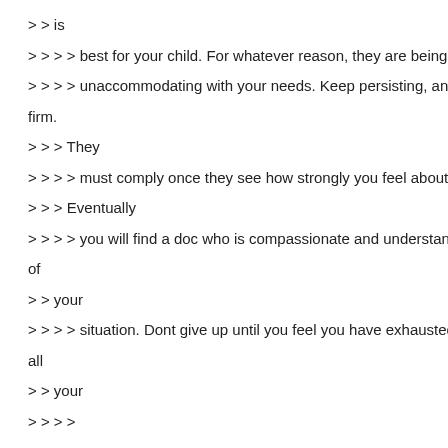> > is
> > > > best for your child. For whatever reason, they are being
> > > > unaccommodating with your needs. Keep persisting, and be firm.
> > > They
> > > > must comply once they see how strongly you feel about it.
> > > Eventually
> > > > you will find a doc who is compassionate and understanding of
> > your
> > > > situation. Dont give up until you feel you have exhausted all
> > your
> > > >